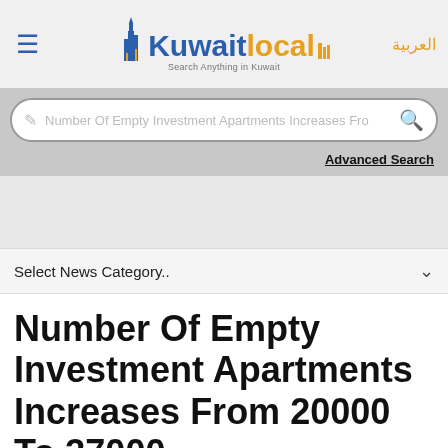KuwaitLocal - Search Anything in Kuwait
Number Of Empty Investment Apartments Increases Fro
Advanced Search
Select News Category..
Number Of Empty Investment Apartments Increases From 20000 To 37000